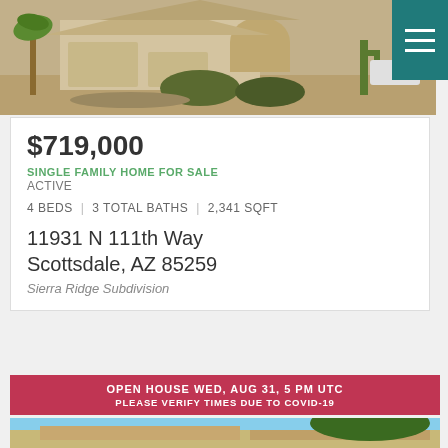[Figure (photo): Exterior photo of a single-family home in desert landscape with palm trees and cacti]
$719,000
SINGLE FAMILY HOME FOR SALE
ACTIVE
4 BEDS | 3 TOTAL BATHS | 2,341 SQFT
11931 N 111th Way
Scottsdale, AZ 85259
Sierra Ridge Subdivision
OPEN HOUSE WED, AUG 31, 5 PM UTC
PLEASE VERIFY TIMES DUE TO COVID-19
[Figure (photo): Exterior photo of home roofline with trees against blue sky]